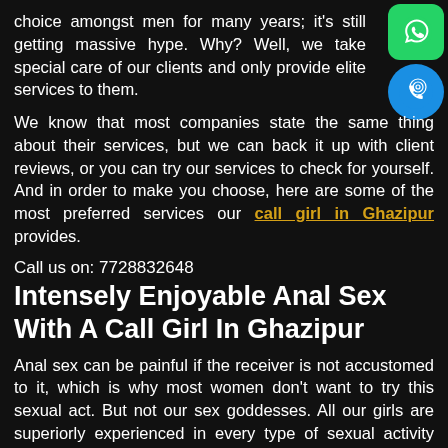choice amongst men for many years; it's still getting massive hype. Why? Well, we take special care of our clients and only provide elite services to them.
We know that most companies state the same thing about their services, but we can back it up with client reviews, or you can try our services to check for yourself. And in order to make you choose, here are some of the most preferred services our call girl in Ghazipur provides.
Call us on: 7728832648
Intensely Enjoyable Anal Sex With A Call Girl In Ghazipur
Anal sex can be painful if the receiver is not accustomed to it, which is why most women don't want to try this sexual act. But not our sex goddesses. All our girls are superiorly experienced in every type of sexual activity and know how to make every acts as intense as it can get. So, upon hiring a call girl Ghazipur,